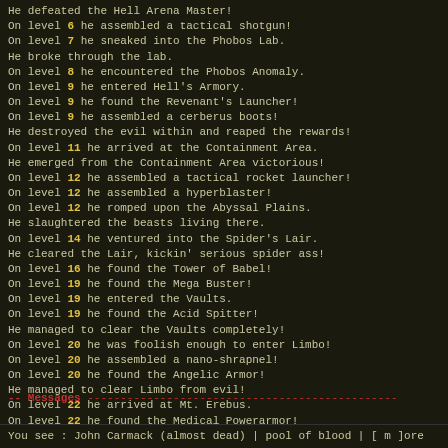He defeated the Hell Arena Master!
On level 6 he assembled a tactical shotgun!
On level 7 he sneaked into the Phobos Lab.
He broke through the lab.
On level 8 he encountered the Phobos Anomaly.
On level 9 he entered Hell's Armory.
On level 9 he found the Revenant's Launcher!
On level 9 he assembled a cerberus boots!
He destroyed the evil within and reaped the rewards!
On level 11 he arrived at the Containment Area.
He emerged from the Containment Area victorious!
On level 12 he assembled a tactical rocket launcher!
On level 12 he assembled a hyperblaster!
On level 12 he romped upon the Abyssal Plains.
He slaughtered the beasts living there.
On level 14 he ventured into the Spider's Lair.
He cleared the Lair, kickin' serious spider ass!
On level 16 he found the Tower of Babel!
On level 19 he found the Mega Buster!
On level 19 he entered the Vaults.
On level 19 he found the Acid Spitter!
He managed to clear the Vaults completely!
On level 20 he was foolish enough to enter Limbo!
On level 20 he assembled a nano-shrapnel!
On level 20 he found the Angelic Armor!
He managed to clear Limbo from evil!
On level 22 he arrived at Mt. Erebus.
On level 22 he found the Medical Powerarmor!
He managed to raise Mt. Erebus completely!
Then at last he found Dis!
He overloaded a nuclear BFG 9000 on level 24!
He defeated the Mastermind and found the TRUE EVIL!
Then finally in Hell itself, he killed the final EVIL.
-- Messages --------------------------------------------------
You see : John Carmack (almost dead) | pool of blood | [ m ]ore